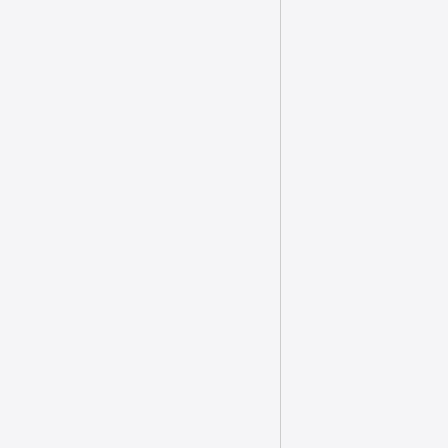five lights when there are only four.
Recordings
1984 (for the love of big brother)